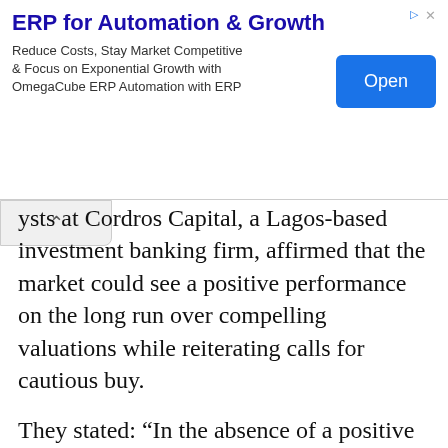[Figure (screenshot): Advertisement banner for OmegaCube ERP. Title: 'ERP for Automation & Growth'. Body text: 'Reduce Costs, Stay Market Competitive & Focus on Exponential Growth with OmegaCube ERP Automation with ERP'. Blue 'Open' button on the right. Ad icon and close button at top right.]
ysts at Cordros Capital, a Lagos-based investment banking firm, affirmed that the market could see a positive performance on the long run over compelling valuations while reiterating calls for cautious buy.
They stated: “In the absence of a positive catalyst, and given the still uninspiring macro story, we guide investors to trade cautiously in the short term.